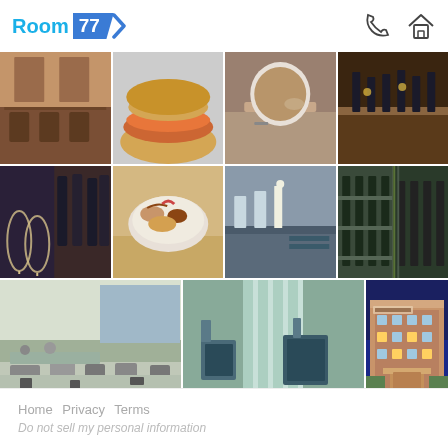[Figure (logo): Room 77 logo with blue text and blue chevron badge]
[Figure (photo): Grid of 10 hotel photos: dining room, sandwich, soup, bar, wine glasses/bottles, granola bowl, buffet area, wine shop, fitness center, meeting room with curtains, SpringHill Suites hotel exterior at night]
Home  Privacy  Terms
Do not sell my personal information